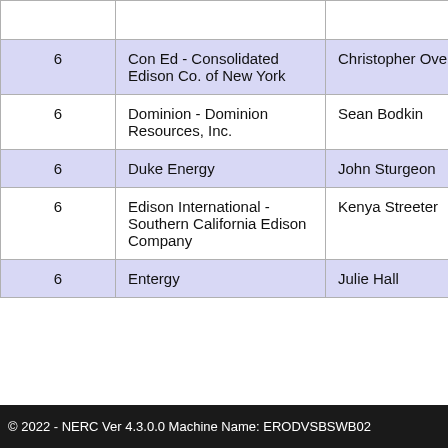|  | Company | Name |  |
| --- | --- | --- | --- |
| 6 | Con Ed - Consolidated Edison Co. of New York | Christopher Overberg |  |
| 6 | Dominion - Dominion Resources, Inc. | Sean Bodkin |  |
| 6 | Duke Energy | John Sturgeon |  |
| 6 | Edison International - Southern California Edison Company | Kenya Streeter |  |
| 6 | Entergy | Julie Hall |  |
© 2022 - NERC Ver 4.3.0.0 Machine Name: ERODVSBSWB02